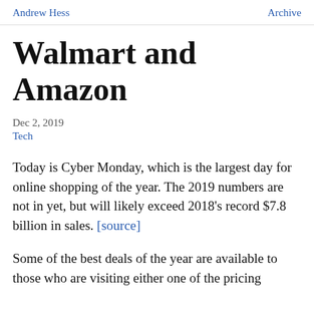Andrew Hess | Archive
Walmart and Amazon
Dec 2, 2019
Tech
Today is Cyber Monday, which is the largest day for online shopping of the year. The 2019 numbers are not in yet, but will likely exceed 2018's record $7.8 billion in sales. [source]
Some of the best deals of the year are available to those who are visiting either one of the pricing